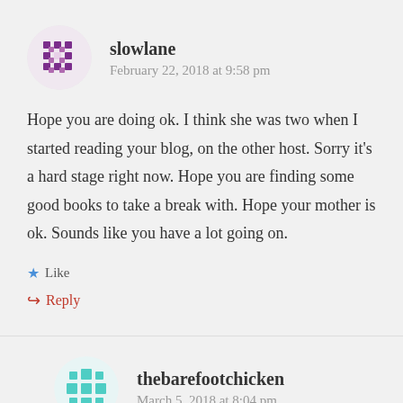[Figure (illustration): Purple pixelated avatar icon for user slowlane, circular shaped with a checkered/dotted pattern in dark purple and white]
slowlane
February 22, 2018 at 9:58 pm
Hope you are doing ok. I think she was two when I started reading your blog, on the other host. Sorry it’s a hard stage right now. Hope you are finding some good books to take a break with. Hope your mother is ok. Sounds like you have a lot going on.
★ Like
↪ Reply
[Figure (illustration): Teal/cyan pixelated snowflake-style avatar icon for user thebarefootchicken]
thebarefootchicken
March 5, 2018 at 8:04 pm